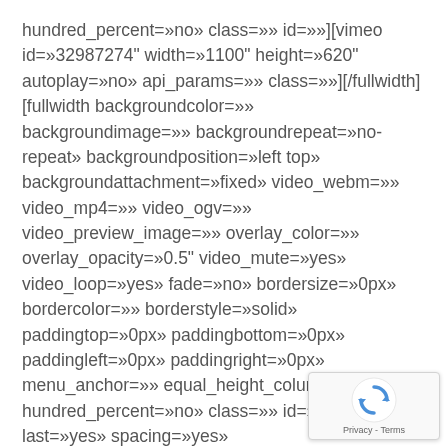hundred_percent=»no» class=»» id=»»][vimeo id=»32987274" width=»1100" height=»620" autoplay=»no» api_params=»» class=»»][/fullwidth] [fullwidth backgroundcolor=»» backgroundimage=»» backgroundrepeat=»no-repeat» backgroundposition=»left top» backgroundattachment=»fixed» video_webm=»» video_mp4=»» video_ogv=»» video_preview_image=»» overlay_color=»» overlay_opacity=»0.5" video_mute=»yes» video_loop=»yes» fade=»no» bordersize=»0px» bordercolor=»» borderstyle=»solid» paddingtop=»0px» paddingbottom=»0px» paddingleft=»0px» paddingright=»0px» menu_anchor=»» equal_height_columns=»no» hundred_percent=»no» class=»» id=»»][one_full last=»yes» spacing=»yes» background_color=»#f6f6f6" background_image=»» background_repeat=»no-repeat» background_position=»left top» border_size=»0px» border_color=»» border_style=»solid» padding=»40px»
[Figure (other): reCAPTCHA widget overlay in bottom-right corner showing the reCAPTCHA logo and 'Privacy - Terms' text]